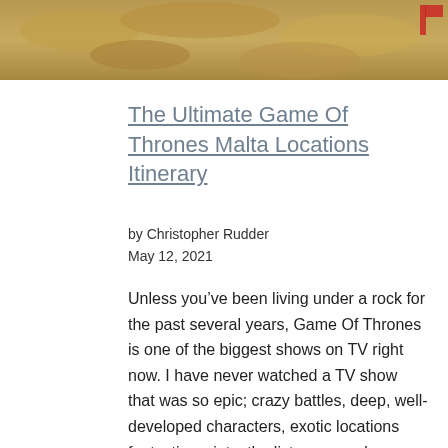[Figure (photo): Sandy rocky landscape with desert-like terrain, partial image at the top of the page]
The Ultimate Game Of Thrones Malta Locations Itinerary
by Christopher Rudder
May 12, 2021
Unless you’ve been living under a rock for the past several years, Game Of Thrones is one of the biggest shows on TV right now. I have never watched a TV show that was so epic; crazy battles, deep, well-developed characters, exotic locations fantastic scripts, the list goes on. I understand that not everyone is …